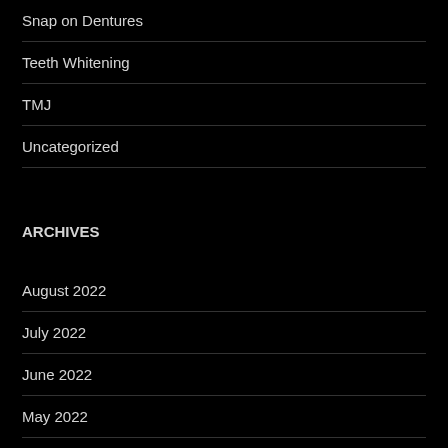Snap on Dentures
Teeth Whitening
TMJ
Uncategorized
ARCHIVES
August 2022
July 2022
June 2022
May 2022
April 2022
March 2022